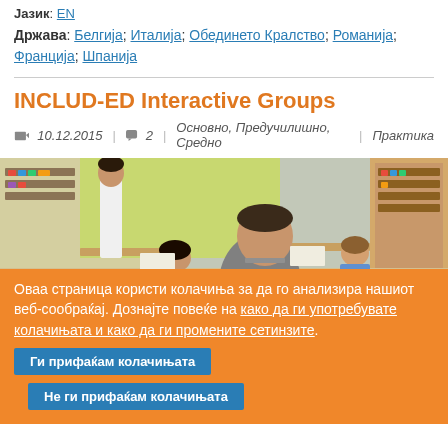Јазик: EN
Држава: Белгија; Италија; Обединето Кралство; Романија; Франција; Шпанија
INCLUD-ED Interactive Groups
10.12.2015 | 2 | Основно, Предучилишно, Средно | Практика
[Figure (photo): Classroom scene with children and a teacher in an interactive group setting]
Оваа страница користи колачиња за да го анализира нашиот веб-сообраќај. Дознајте повеќе на како да ги употребувате колачињата и како да ги промените сетинзите.
Ги прифаќам колачињата
Не ги прифаќам колачињата